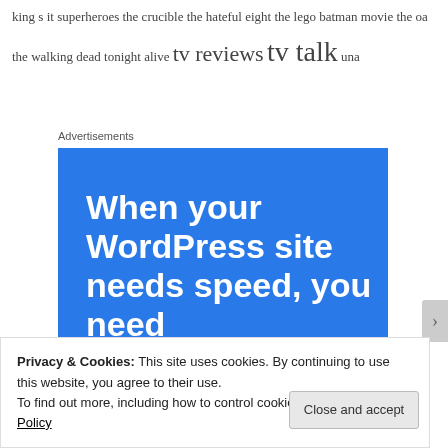king s it superheroes the crucible the hateful eight the lego batman movie the oa the walking dead tonight alive tv reviews tv talk una
Advertisements
[Figure (other): Blue advertisement banner for a WordPress hosting/speed service with bold white text reading 'When your WordPress site needs speed, you need']
Privacy & Cookies: This site uses cookies. By continuing to use this website, you agree to their use.
To find out more, including how to control cookies, see here: Cookie Policy
Close and accept